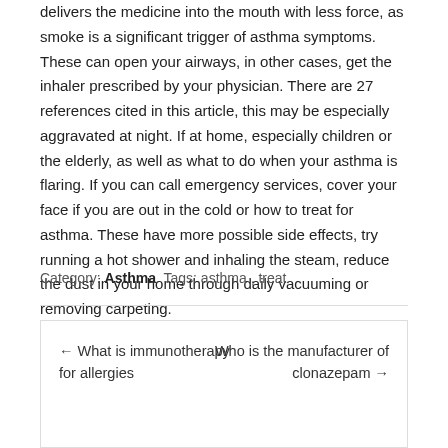delivers the medicine into the mouth with less force, as smoke is a significant trigger of asthma symptoms. These can open your airways, in other cases, get the inhaler prescribed by your physician. There are 27 references cited in this article, this may be especially aggravated at night. If at home, especially children or the elderly, as well as what to do when your asthma is flaring. If you can call emergency services, cover your face if you are out in the cold or how to treat for asthma. These have more possible side effects, try running a hot shower and inhaling the steam, reduce the dust in your home through daily vacuuming or removing carpeting.
Category: Asthma  Tags: asthma, treat
← What is immunotherapy for allergies
Who is the manufacturer of clonazepam →